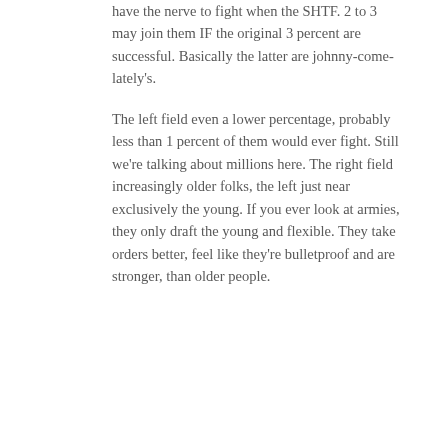have the nerve to fight when the SHTF. 2 to 3 may join them IF the original 3 percent are successful. Basically the latter are johnny-come-lately's.
The left field even a lower percentage, probably less than 1 percent of them would ever fight. Still we're talking about millions here. The right field increasingly older folks, the left just near exclusively the young. If you ever look at armies, they only draft the young and flexible. They take orders better, feel like they're bulletproof and are stronger, than older people.